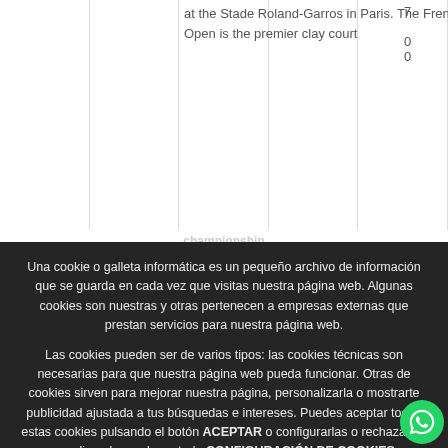at the Stade Roland-Garros in Paris. The French Open is the premier clay court
Una cookie o galleta informática es un pequeño archivo de información que se guarda en cada vez que visitas nuestra página web. Algunas cookies son nuestras y otras pertenecen a empresas externas que prestan servicios para nuestra página web.
Las cookies pueden ser de varios tipos: las cookies técnicas son necesarias para que nuestra página web pueda funcionar. Otras de cookies sirven para mejorar nuestra página, personalizarla o mostrarte publicidad ajustada a tus búsquedas e intereses. Puedes aceptar todas estas cookies pulsando el botón ACEPTAR o configurarlas o rechazar su uso clicando en el apartado CONFIGURACIÓN DE COOKIES.
Si quieres más información, consulta la Política de cookies de nuestra página web.
Aceptar
Configuración general